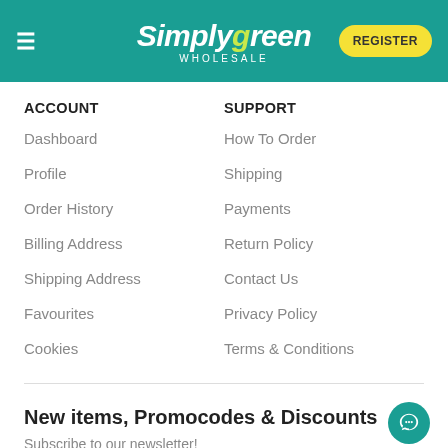Simply green WHOLESALE — REGISTER
ACCOUNT
Dashboard
Profile
Order History
Billing Address
Shipping Address
Favourites
Cookies
SUPPORT
How To Order
Shipping
Payments
Return Policy
Contact Us
Privacy Policy
Terms & Conditions
New items, Promocodes & Discounts
Subscribe to our newsletter!